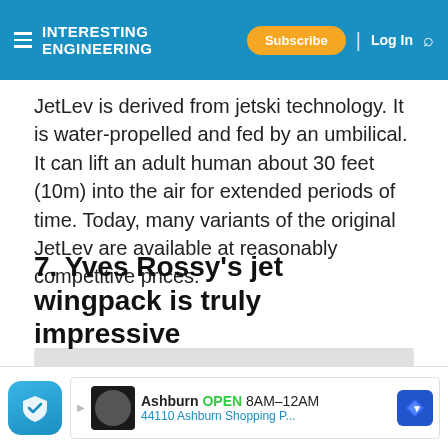INTERESTING ENGINEERING — Subscribe | Log In
JetLev is derived from jetski technology. It is water-propelled and fed by an umbilical. It can lift an adult human about 30 feet (10m) into the air for extended periods of time. Today, many variants of the original JetLev are available at reasonably competitive prices.
7. Yves Rossy's jet wingpack is truly impressive
[Figure (photo): Bottom portion of an article image showing a dark and light blue horizontal strip, partially visible]
Ashburn OPEN 8AM–12AM 44110 Ashburn Shopping P...